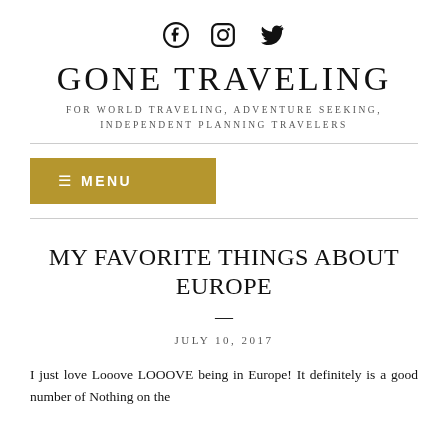[Figure (logo): Social media icons: Facebook, Instagram, Twitter]
GONE TRAVELING
FOR WORLD TRAVELING, ADVENTURE SEEKING, INDEPENDENT PLANNING TRAVELERS
≡ MENU
MY FAVORITE THINGS ABOUT EUROPE
JULY 10, 2017
I just love Looove LOOOVE being in Europe! It definitely is a good number of Nothing on the